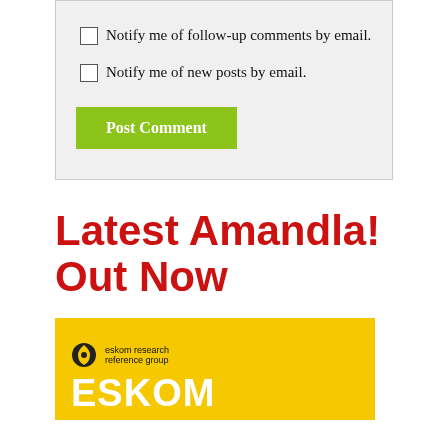Notify me of follow-up comments by email.
Notify me of new posts by email.
Post Comment
Latest Amandla! Out Now
[Figure (photo): Magazine cover with yellow background showing 'eskom research reference group' logo and 'ESKOM' text in white bold letters]